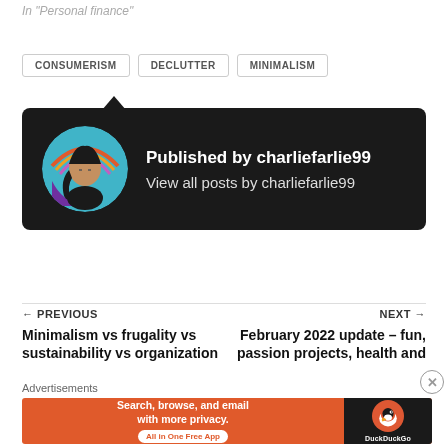In "Personal finance"
CONSUMERISM
DECLUTTER
MINIMALISM
[Figure (illustration): Author card with avatar illustration of a cartoon woman with blue background and dark hair, on a dark background card. Text reads: Published by charliefarlie99. View all posts by charliefarlie99.]
← PREVIOUS
Minimalism vs frugality vs sustainability vs organization
NEXT →
February 2022 update – fun, passion projects, health and
Advertisements
[Figure (screenshot): DuckDuckGo advertisement banner: Search, browse, and email with more privacy. All in One Free App. Orange background with DuckDuckGo duck logo on dark right panel.]